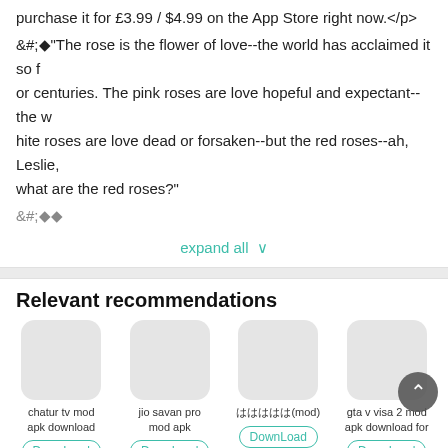purchase it for £3.99 / $4.99 on the App Store right now.</p>
&#;🌹"The rose is the flower of love--the world has acclaimed it for centuries. The pink roses are love hopeful and expectant--the white roses are love dead or forsaken--but the red roses--ah, Leslie, what are the red roses?"
&#;🌹🌹
expand all ∨
Relevant recommendations
chatur tv mod apk download
DownLoad
jio savan pro mod apk
DownLoad
ははははは(mod)
DownLoad
gta v visa 2 mod apk download for
DownLoad